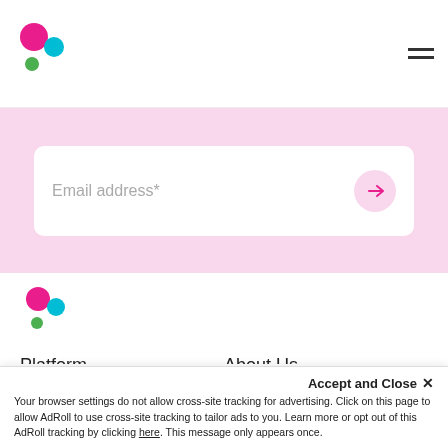Logo and navigation header
Email address*
[Figure (logo): Colorful dot logo with pink, teal, and green circles]
Platform
About Us
Creators
Contact Us
Request a Demo
Help Center
Pricing
Careers
NEW: TikTok
Accept and Close ×
Your browser settings do not allow cross-site tracking for advertising. Click on this page to allow AdRoll to use cross-site tracking to tailor ads to you. Learn more or opt out of this AdRoll tracking by clicking here. This message only appears once.